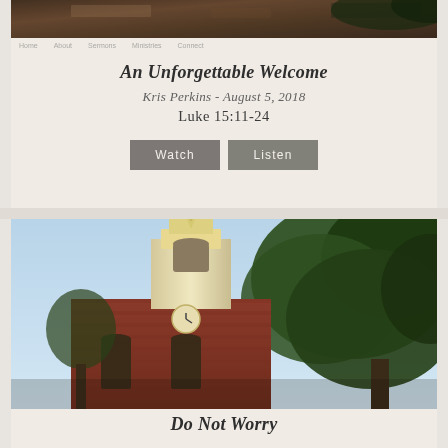[Figure (photo): Top portion of a church building with brick facade and trees, cropped at top of page]
An Unforgettable Welcome
Kris Perkins - August 5, 2018
Luke 15:11-24
Watch   Listen
[Figure (photo): Photograph of a historic brick church steeple with white bell tower against a blue sky, flanked by large green trees]
Do Not Worry